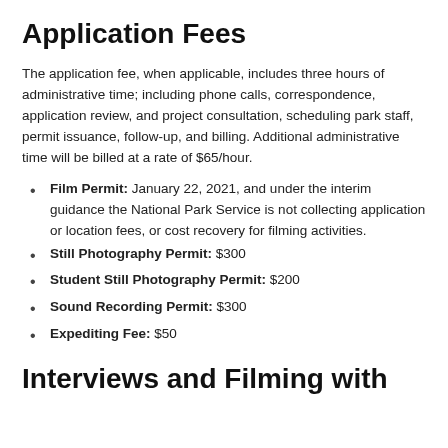Application Fees
The application fee, when applicable, includes three hours of administrative time; including phone calls, correspondence, application review, and project consultation, scheduling park staff, permit issuance, follow-up, and billing. Additional administrative time will be billed at a rate of $65/hour.
Film Permit: January 22, 2021, and under the interim guidance the National Park Service is not collecting application or location fees, or cost recovery for filming activities.
Still Photography Permit: $300
Student Still Photography Permit: $200
Sound Recording Permit: $300
Expediting Fee: $50
Interviews and Filming with